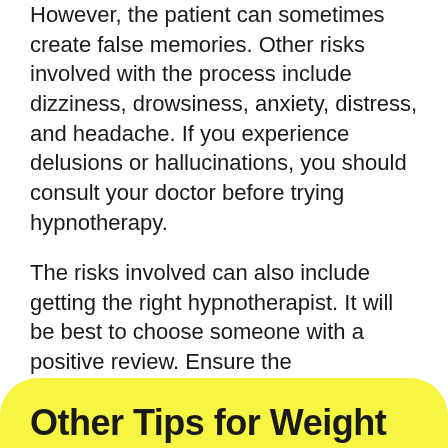However, the patient can sometimes create false memories. Other risks involved with the process include dizziness, drowsiness, anxiety, distress, and headache. If you experience delusions or hallucinations, you should consult your doctor before trying hypnotherapy.
The risks involved can also include getting the right hypnotherapist. It will be best to choose someone with a positive review. Ensure the hypnotherapist has references, prior clients, and a website. It will also help a lot if the person is accredited by the relevant bodies.
Other Tips for Weight